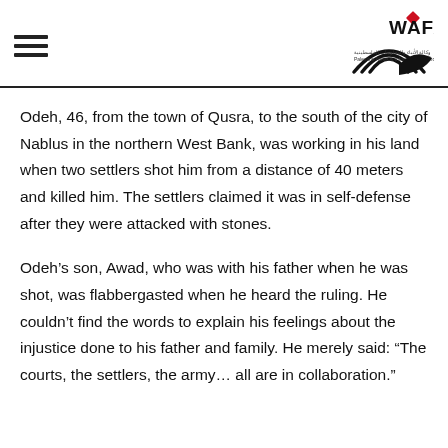WAFA logo with hamburger menu
Odeh, 46, from the town of Qusra, to the south of the city of Nablus in the northern West Bank, was working in his land when two settlers shot him from a distance of 40 meters and killed him. The settlers claimed it was in self-defense after they were attacked with stones.
Odeh’s son, Awad, who was with his father when he was shot, was flabbergasted when he heard the ruling. He couldn’t find the words to explain his feelings about the injustice done to his father and family. He merely said: “The courts, the settlers, the army… all are in collaboration.”